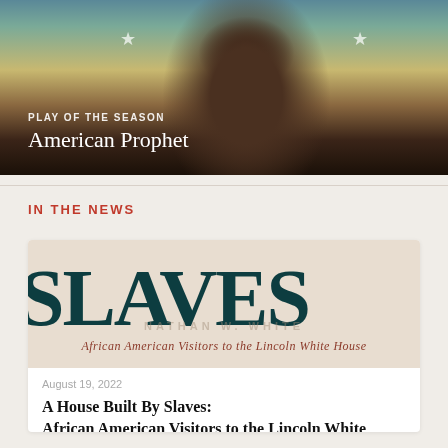[Figure (illustration): Promotional banner image showing a painted portrait of a Black man (Frederick Douglass) against a background with stars, with text overlay reading 'PLAY OF THE SEASON' and 'American Prophet']
PLAY OF THE SEASON
American Prophet
IN THE NEWS
[Figure (illustration): Book cover image showing the word 'SLAVES' in large dark teal serif font, subtitle 'African American Visitors to the Lincoln White House' in red italic text, and watermark author name 'NATHAN W. WHITE']
August 19, 2022
A House Built By Slaves: African American Visitors to the Lincoln White